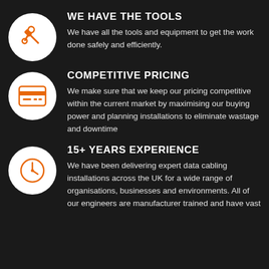WE HAVE THE TOOLS
We have all the tools and equipment to get the work done safely and efficiently.
COMPETITIVE PRICING
We make sure that we keep our pricing competitive within the current market by maximising our buying power and planning installations to eliminate wastage and downtime
15+ YEARS EXPERIENCE
We have been delivering expert data cabling installations across the UK for a wide range of organisations, businesses and environments. All of our engineers are manufacturer trained and have vast